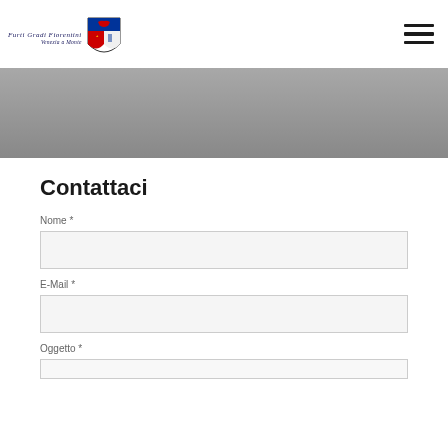Furti Gradi Fiorentini - Venezia a Monte [logo with coat of arms and hamburger menu]
[Figure (illustration): Gray banner/hero image area below the navigation header]
Contattaci
Nome *
E-Mail *
Oggetto *